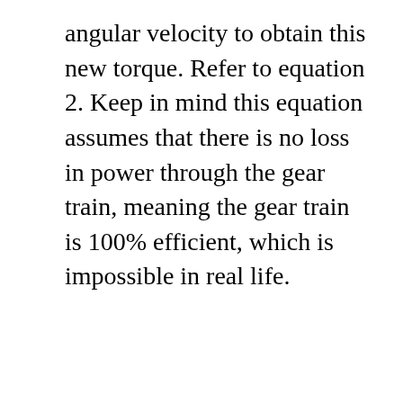angular velocity to obtain this new torque. Refer to equation 2. Keep in mind this equation assumes that there is no loss in power through the gear train, meaning the gear train is 100% efficient, which is impossible in real life.